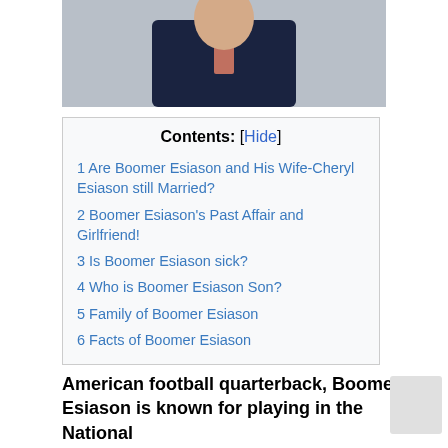[Figure (photo): Photo of Boomer Esiason in a dark suit with a salmon/coral tie, cropped to show upper body against a light background]
Contents: [Hide]
1 Are Boomer Esiason and His Wife-Cheryl Esiason still Married?
2 Boomer Esiason's Past Affair and Girlfriend!
3 Is Boomer Esiason sick?
4 Who is Boomer Esiason Son?
5 Family of Boomer Esiason
6 Facts of Boomer Esiason
American football quarterback, Boomer Esiason is known for playing in the National